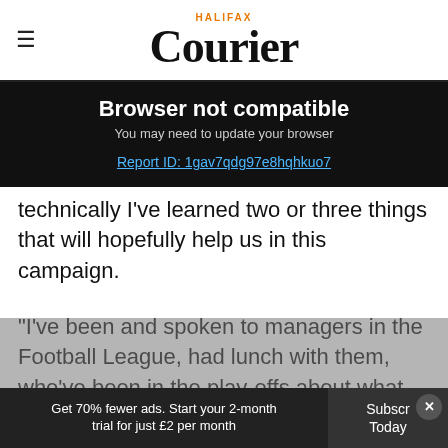HALIFAX Courier
Browser not compatible
You may need to update your browser
Report ID: 1gav7qdg97e8hqhkuo7
technically I've learned two or three things that will hopefully help us in this campaign.
"I've been and spoken to managers in the Football League, had lunch with them, who've been in the play-offs about what they've experienced and I've tried to make sure I'm fu
Get 70% fewer ads. Start your 2-month trial for just £2 per month  Subscribe Today